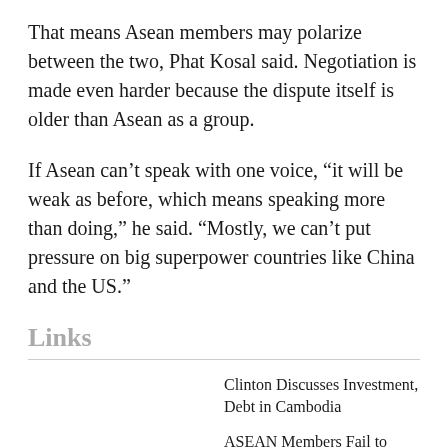That means Asean members may polarize between the two, Phat Kosal said. Negotiation is made even harder because the dispute itself is older than Asean as a group.
If Asean can’t speak with one voice, “it will be weak as before, which means speaking more than doing,” he said. “Mostly, we can’t put pressure on big superpower countries like China and the US.”
Links
Clinton Discusses Investment, Debt in Cambodia
ASEAN Members Fail to Draft South…